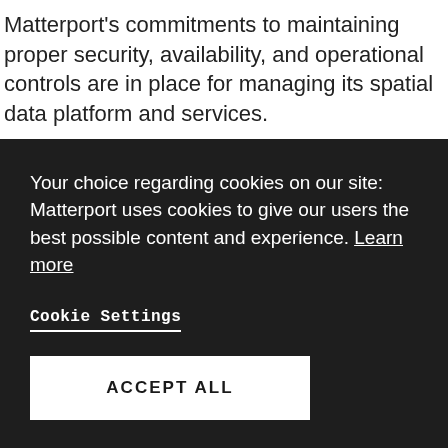Matterport's commitments to maintaining proper security, availability, and operational controls are in place for managing its spatial data platform and services.
Your choice regarding cookies on our site: Matterport uses cookies to give our users the best possible content and experience. Learn more
Cookie Settings
ACCEPT ALL